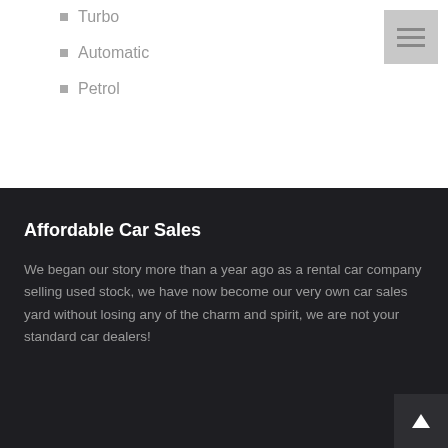Turbo
Automatic
Petrol
Affordable Car Sales
We began our story more than a year ago as a rental car company selling used stock, we have now become our very own car sales yard without losing any of the charm and spirit, we are not your standard car dealers!